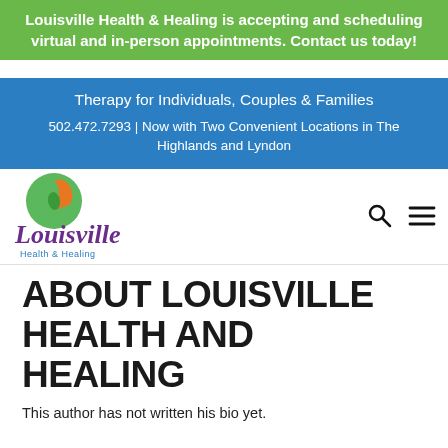Louisville Health & Healing is accepting and scheduling virtual and in-person appointments. Contact us today!
Therapy for Individuals, Couples & Families
502.472.7293 | Now with Two Convenient Locations in The Highlands and Lyndon
[Figure (logo): Louisville Health & Healing logo with green and orange hands and purple script text]
ABOUT LOUISVILLE HEALTH AND HEALING
This author has not written his bio yet.